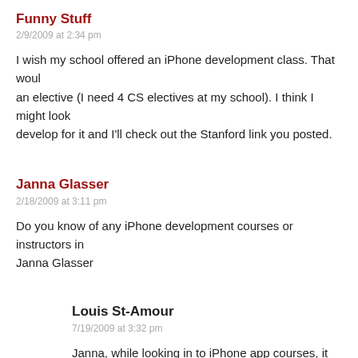Funny Stuff
2/9/2009 at 2:34 pm
I wish my school offered an iPhone development class. That would be an elective (I need 4 CS electives at my school). I think I might look develop for it and I'll check out the Stanford link you posted.
Janna Glasser
2/18/2009 at 3:11 pm
Do you know of any iPhone development courses or instructors in Janna Glasser
Louis St-Amour
7/19/2009 at 3:32 pm
Janna, while looking in to iPhone app courses, it appears Ne iPhone